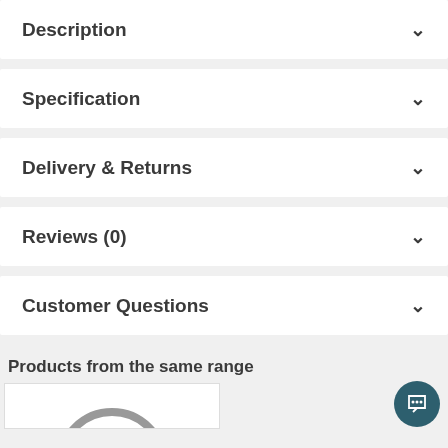Description
Specification
Delivery & Returns
Reviews (0)
Customer Questions
Products from the same range
[Figure (photo): Partial product image at bottom of page (appears to be a circular/ring shaped product)]